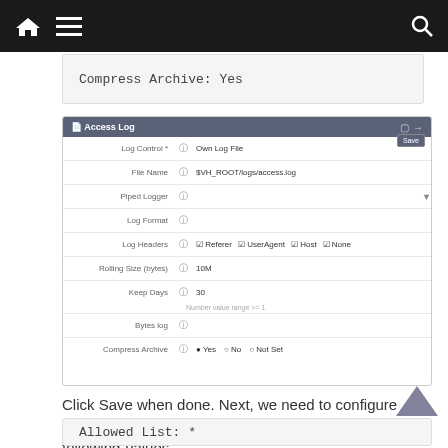Navigation bar with home, menu, and search icons
Compress Archive: Yes
[Figure (screenshot): Access Log configuration panel showing form fields: Log Control (Own Log File), File Name ($VH_ROOT/logs/access.log), Piped Logger, Log Format, Log Headers (Referer, UserAgent, Host, None checkboxes), Rolling Size (bytes) (10M), Keep Days (30), Bytes log, Compress Archive (Yes/No/Not Set radio buttons). A Save button tooltip is visible in the top right corner.]
Click Save when done. Next, we need to configure Access Control under the Security section. Set the following Values.
Allowed List: *